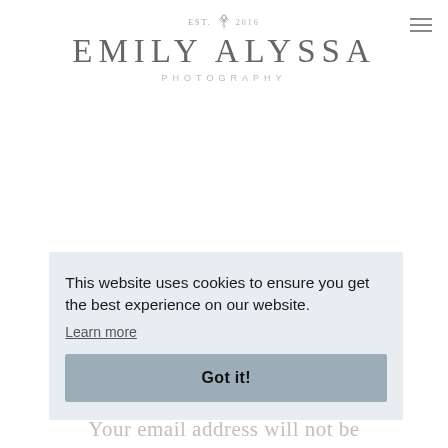[Figure (logo): Emily Alyssa Photography logo with EST. 2016 text and decorative plant/flower icon, centered at top of page]
This website uses cookies to ensure you get the best experience on our website.
Learn more
Got it!
Your email address will not be